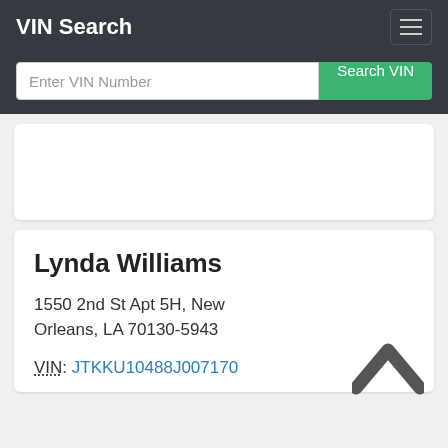VIN Search
Enter VIN Number | Search VIN
Lynda Williams
1550 2nd St Apt 5H, New Orleans, LA 70130-5943
VIN: JTKKU10488J007170
[Figure (illustration): Chevron up arrow icon in dark grey]